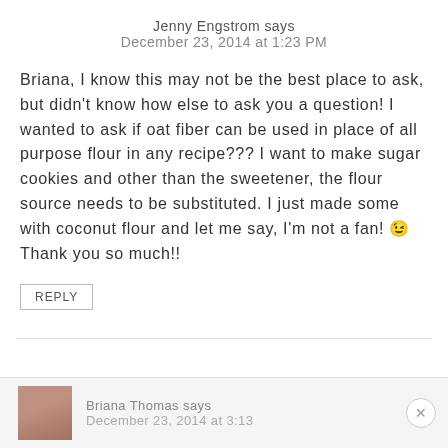Jenny Engstrom says
December 23, 2014 at 1:23 PM
Briana, I know this may not be the best place to ask, but didn't know how else to ask you a question! I wanted to ask if oat fiber can be used in place of all purpose flour in any recipe??? I want to make sugar cookies and other than the sweetener, the flour source needs to be substituted. I just made some with coconut flour and let me say, I'm not a fan! 😉 Thank you so much!!
REPLY
Briana Thomas says
December 23, 2014 at 3:13